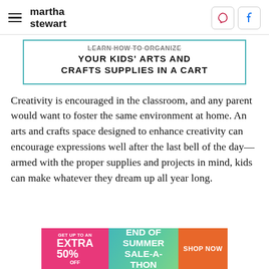martha stewart
LEARN HOW TO ORGANIZE YOUR KIDS' ARTS AND CRAFTS SUPPLIES IN A CART
Creativity is encouraged in the classroom, and any parent would want to foster the same environment at home. An arts and crafts space designed to enhance creativity can encourage expressions well after the last bell of the day—armed with the proper supplies and projects in mind, kids can make whatever they dream up all year long.
[Figure (infographic): Advertisement banner: GET UP TO AN EXTRA 50% OFF | END OF SUMMER SALE-A-THON | SHOP NOW]